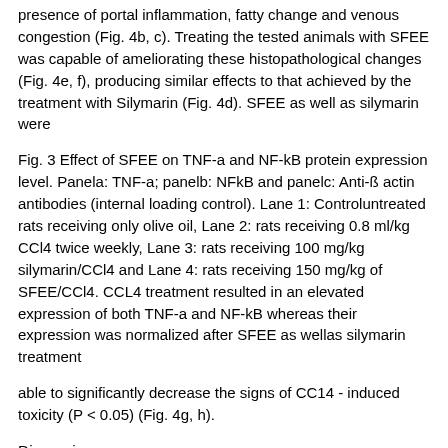presence of portal inflammation, fatty change and venous congestion (Fig. 4b, c). Treating the tested animals with SFEE was capable of ameliorating these histopathological changes (Fig. 4e, f), producing similar effects to that achieved by the treatment with Silymarin (Fig. 4d). SFEE as well as silymarin were
Fig. 3 Effect of SFEE on TNF-a and NF-kB protein expression level. Panela: TNF-a; panelb: NFkB and panelc: Anti-ß actin antibodies (internal loading control). Lane 1: Controluntreated rats receiving only olive oil, Lane 2: rats receiving 0.8 ml/kg CCl4 twice weekly, Lane 3: rats receiving 100 mg/kg silymarin/CCl4 and Lane 4: rats receiving 150 mg/kg of SFEE/CCl4. CCL4 treatment resulted in an elevated expression of both TNF-a and NF-kB whereas their expression was normalized after SFEE as wellas silymarin treatment
able to significantly decrease the signs of CC14 - induced toxicity (P < 0.05) (Fig. 4g, h).
Discussion
Metabolism and excretion of xenobiotics usually result in the generation of free radicals, which eventually